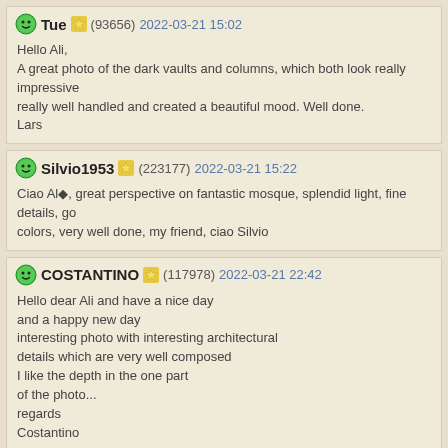Tue (93656) 2022-03-21 15:02
Hello Ali,
A great photo of the dark vaults and columns, which both look really impressive really well handled and created a beautiful mood. Well done.
Lars
Silvio1953 (223177) 2022-03-21 15:22
Ciao Al◆, great perspective on fantastic mosque, splendid light, fine details, go colors, very well done, my friend, ciao Silvio
COSTANTINO (117978) 2022-03-21 22:42
Hello dear Ali and have a nice day
and a happy new day
interesting photo with interesting architectural
details which are very well composed
I like the depth in the one part
of the photo...
regards
Costantino